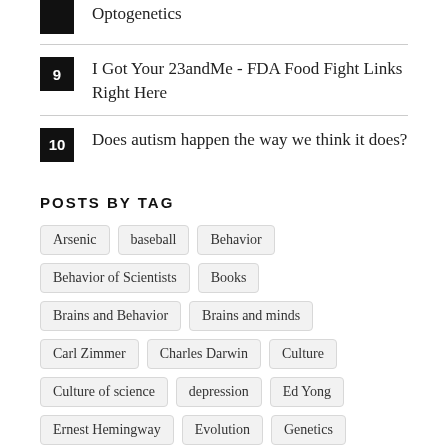Optogenetics
9  I Got Your 23andMe - FDA Food Fight Links Right Here
10  Does autism happen the way we think it does?
POSTS BY TAG
Arsenic  baseball  Behavior  Behavior of Scientists  Books  Brains and Behavior  Brains and minds  Carl Zimmer  Charles Darwin  Culture  Culture of science  depression  Ed Yong  Ernest Hemingway  Evolution  Genetics  genetic testing  Healthcare policy